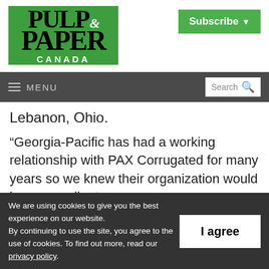[Figure (logo): Pulp & Paper Canada logo on green background with white text]
Subscribe ▾
≡ MENU  Search 🔍
Lebanon, Ohio.
“Georgia-Pacific has had a working relationship with PAX Corrugated for many years so we knew their organization would be an excellent
We are using cookies to give you the best experience on our website.
By continuing to use the site, you agree to the use of cookies. To find out more, read our privacy policy.
I agree